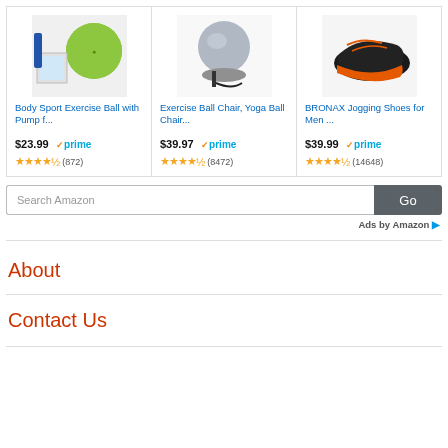[Figure (screenshot): Amazon product ad widget showing three products: Body Sport Exercise Ball with Pump, Exercise Ball Chair Yoga Ball Chair, and BRONAX Jogging Shoes for Men, each with price, Amazon Prime badge, and star ratings.]
Body Sport Exercise Ball with Pump f...
$23.99 prime
4.5 stars (872)
Exercise Ball Chair, Yoga Ball Chair...
$39.97 prime
4.5 stars (8472)
BRONAX Jogging Shoes for Men ...
$39.99 prime
4.5 stars (14648)
Search Amazon
Ads by Amazon
About
Contact Us